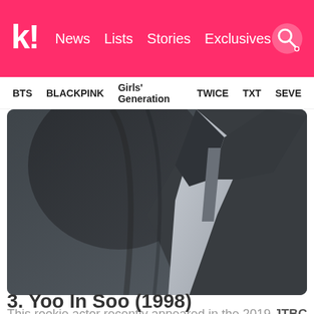k! News  Lists  Stories  Exclusives
BTS  BLACKPINK  Girls' Generation  TWICE  TXT  SEVE
[Figure (photo): Close-up photo of a person in a dark suit jacket with a light-colored shirt/tie visible, shot on a dark grey background]
This rookie actor recently appeared in the 2019 JTBC drama, At Eighteen, as Lee Ki-Tae.
3. Yoo In Soo (1998)